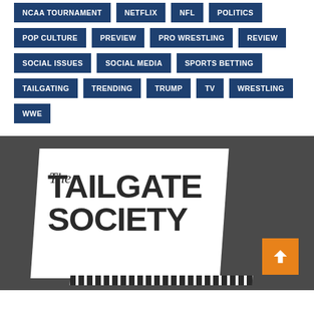NCAA TOURNAMENT
NETFLIX
NFL
POLITICS
POP CULTURE
PREVIEW
PRO WRESTLING
REVIEW
SOCIAL ISSUES
SOCIAL MEDIA
SPORTS BETTING
TAILGATING
TRENDING
TRUMP
TV
WRESTLING
WWE
[Figure (logo): The Tailgate Society logo — white diagonal background with bold uppercase TAILGATE SOCIETY text and italic 'The' in script above, on a dark gray footer background. Orange scroll-to-top button in bottom right.]